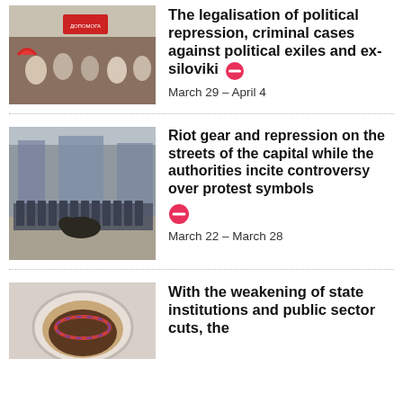[Figure (photo): Protest crowd with signs including text ДОПОМОГА]
The legalisation of political repression, criminal cases against political exiles and ex-siloviki
March 29 – April 4
[Figure (photo): Riot police in formation on city street]
Riot gear and repression on the streets of the capital while the authorities incite controversy over protest symbols
March 22 – March 28
[Figure (photo): Close-up of a toilet or basin with liquid]
With the weakening of state institutions and public sector cuts, the